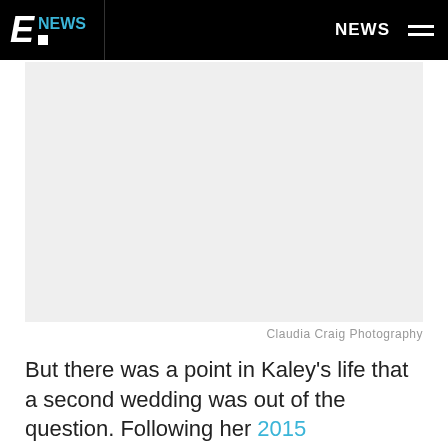E NEWS  NEWS
[Figure (photo): Large image placeholder area with light gray background, likely a photo related to the article about Kaley Cuoco]
Claudia Craig Photography
But there was a point in Kaley's life that a second wedding was out of the question. Following her 2015